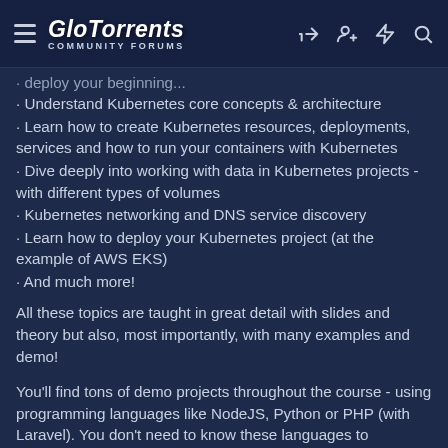GloTorrents COMMUNITY FORUMS
· deploy your beginning...
· Understand Kubernetes core concepts & architecture
· Learn how to create Kubernetes resources, deployments, services and how to run your containers with Kubernetes
· Dive deeply into working with data in Kubernetes projects - with different types of volumes
· Kubernetes networking and DNS service discovery
· Learn how to deploy your Kubernetes project (at the example of AWS EKS)
· And much more!
All these topics are taught in great detail with slides and theory but also, most importantly, with many examples and demo!
You'll find tons of demo projects throughout the course - using programming languages like NodeJS, Python or PHP (with Laravel). You don't need to know these languages to